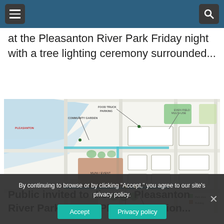Navigation header with menu and search icons
at the Pleasanton River Park Friday night with a tree lighting ceremony surrounded...
[Figure (map): Aerial site plan / map of Pleasanton River Park Master Plan showing labeled areas including community garden, food truck parking, event field, multi-use building, and other park features with connecting pathways and surrounding streets.]
Public invited to discuss Pleasanton River Park Master Plan Renovation...
By continuing to browse or by clicking "Accept," you agree to our site's privacy policy.